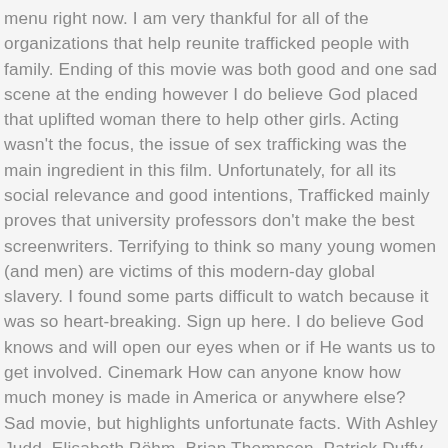menu right now. I am very thankful for all of the organizations that help reunite trafficked people with family. Ending of this movie was both good and one sad scene at the ending however I do believe God placed that uplifted woman there to help other girls. Acting wasn't the focus, the issue of sex trafficking was the main ingredient in this film. Unfortunately, for all its social relevance and good intentions, Trafficked mainly proves that university professors don't make the best screenwriters. Terrifying to think so many young women (and men) are victims of this modern-day global slavery. I found some parts difficult to watch because it was so heart-breaking. Sign up here. I do believe God knows and will open our eyes when or if He wants us to get involved. Cinemark How can anyone know how much money is made in America or anywhere else? Sad movie, but highlights unfortunate facts. With Ashley Judd, Elisabeth Röhm, Brian Thompson, Patrick Duffy. This was a good yet serious movie about sex trafficking in this country, and a wake-up call to parents about how they watch over their children and of